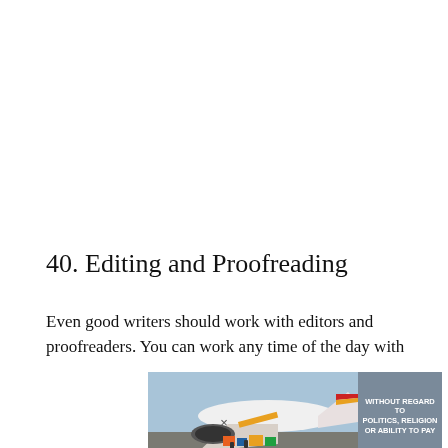40. Editing and Proofreading
Even good writers should work with editors and proofreaders. You can work any time of the day with
[Figure (photo): Advertisement banner showing an airplane being loaded with cargo on the tarmac, with text 'WITHOUT REGARD TO POLITICS, RELIGION OR ABILITY TO PAY' on the right side in a gray/blue box.]
×